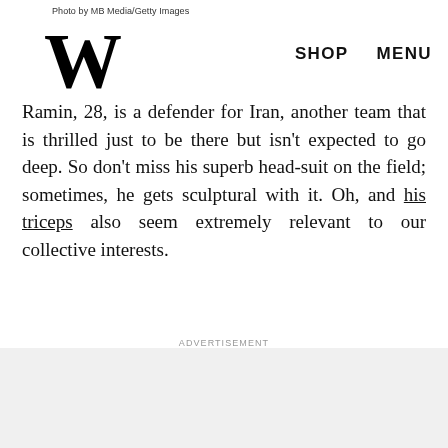Photo by MB Media/Getty Images
W   SHOP   MENU
Ramin, 28, is a defender for Iran, another team that is thrilled just to be there but isn't expected to go deep. So don't miss his superb head-suit on the field; sometimes, he gets sculptural with it. Oh, and his triceps also seem extremely relevant to our collective interests.
ADVERTISEMENT